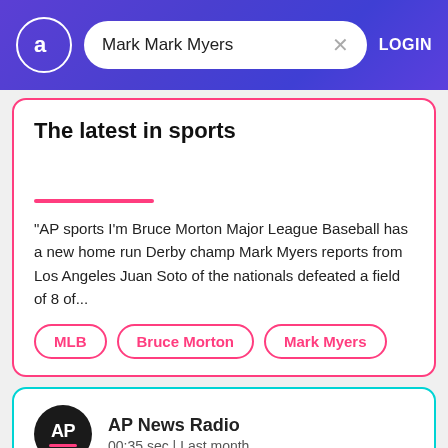Mark Mark Myers | LOGIN
The latest in sports
"AP sports I'm Bruce Morton Major League Baseball has a new home run Derby champ Mark Myers reports from Los Angeles Juan Soto of the nationals defeated a field of 8 of...
MLB
Bruce Morton
Mark Myers
AP News Radio
00:35 sec | Last month
Kershaw takes perfect game into 8th,